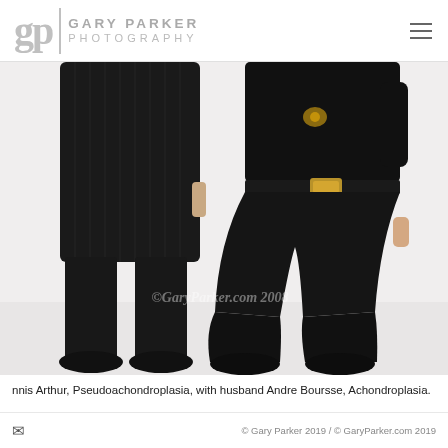GARY PARKER PHOTOGRAPHY
[Figure (photo): Two people wearing all-black clothing photographed from the waist/torso down against a white background. Left person wears a dark pinstripe suit with black shoes. Right person wears a black long-sleeve top with a brooch, black belt with gold buckle, and baggy black trousers with black shoes. Watermark reads: ©GaryParker.com 2008]
nnis Arthur, Pseudoachondroplasia, with husband Andre Boursse, Achondroplasia.
© Gary Parker 2019 / © GaryParker.com 2019